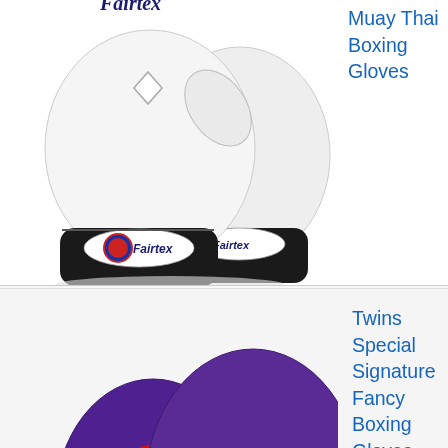[Figure (photo): Fairtex white Muay Thai boxing gloves, partially visible at top of page, showing the Fairtex branding and white leather gloves]
Muay Thai Boxing Gloves
Ama[zon]
[Figure (photo): Twins Special purple and gold Signature Fancy Boxing Gloves, 12 oz, shown as a pair of gloves]
Twins Special Signature Fancy Boxing Gloves
4.5
See Price Ama[zon]
Buying Guide: How To Choose The Best Boxing Gloves For Beginners